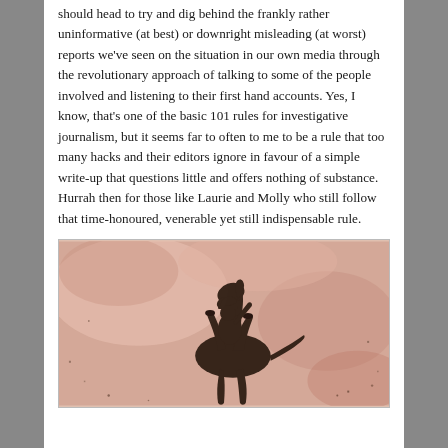should head to try and dig behind the frankly rather uninformative (at best) or downright misleading (at worst) reports we've seen on the situation in our own media through the revolutionary approach of talking to some of the people involved and listening to their first hand accounts. Yes, I know, that's one of the basic 101 rules for investigative journalism, but it seems far to often to me to be a rule that too many hacks and their editors ignore in favour of a simple write-up that questions little and offers nothing of substance. Hurrah then for those like Laurie and Molly who still follow that time-honoured, venerable yet still indispensable rule.
[Figure (photo): A vintage-style photograph or illustration showing a rider on a rearing horse, rendered in dark tones against a pinkish-beige weathered background.]